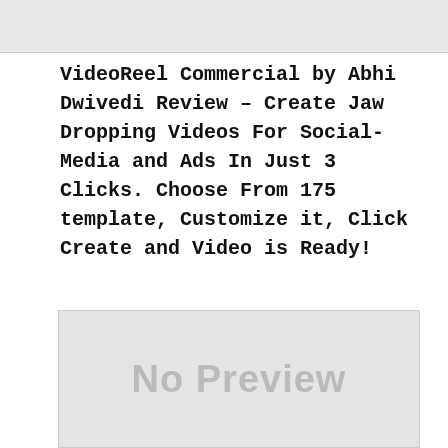VideoReel Commercial by Abhi Dwivedi Review – Create Jaw Dropping Videos For Social-Media and Ads In Just 3 Clicks. Choose From 175 template, Customize it, Click Create and Video is Ready!
[Figure (other): No Preview placeholder box with light grey background and 'No Preview' text in large grey letters]